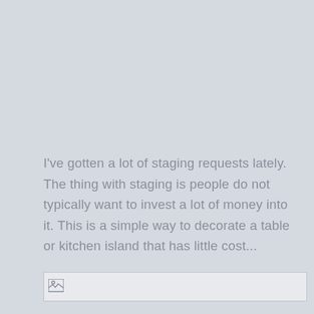I've gotten a lot of staging requests lately. The thing with staging is people do not typically want to invest a lot of money into it. This is a simple way to decorate a table or kitchen island that has little cost...
[Figure (other): Broken image placeholder icon in a light gray box]